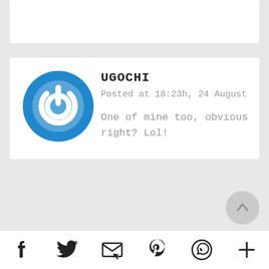[Figure (screenshot): Partial top of a comment card, white background, clipped at top of page]
UGOCHI
Posted at 18:23h, 24 August
One of mine too, obvious right? Lol!
[Figure (logo): Blue circular power button icon (avatar for UGOCHI)]
JENN
Posted at 17:49h, 23 August
[Figure (logo): Blue circular power button icon (avatar for JENN)]
f  Twitter  Email  Pinterest  WhatsApp  +